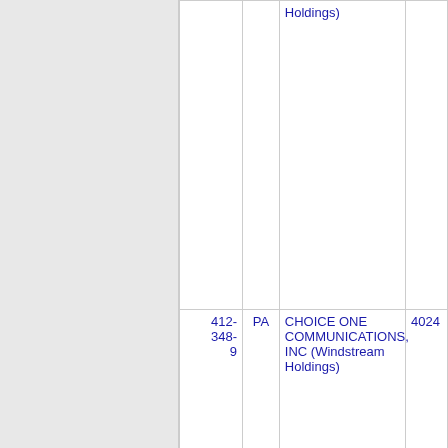| Number | State | Name | Code |
| --- | --- | --- | --- |
|  |  | Holdings) |  |
| 412-348-9 | PA | CHOICE ONE COMMUNICATIONS, INC (Windstream Holdings) | 4024 |